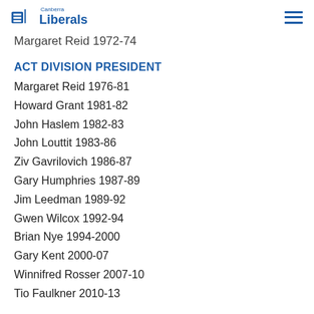Canberra Liberals
Margaret Reid 1972-74
ACT DIVISION PRESIDENT
Margaret Reid 1976-81
Howard Grant 1981-82
John Haslem 1982-83
John Louttit 1983-86
Ziv Gavrilovich 1986-87
Gary Humphries 1987-89
Jim Leedman 1989-92
Gwen Wilcox 1992-94
Brian Nye 1994-2000
Gary Kent 2000-07
Winnifred Rosser 2007-10
Tio Faulkner 2010-13